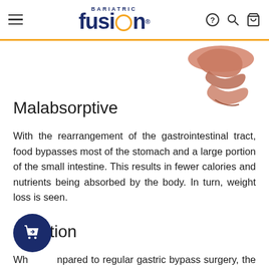Bariatric Fusion — navigation header with logo, hamburger menu, help, search, and cart icons
[Figure (illustration): Partial anatomical illustration of the gastrointestinal tract (intestines), visible in the top-right corner of the page]
Malabsorptive
With the rearrangement of the gastrointestinal tract, food bypasses most of the stomach and a large portion of the small intestine. This results in fewer calories and nutrients being absorbed by the body. In turn, weight loss is seen.
Duration
When compared to regular gastric bypass surgery, the mini bypass can reduce operating times by 50 minutes. This would mean that the entire operation can take anywhere from 45 minutes to 1.5 hours. This is great timing when